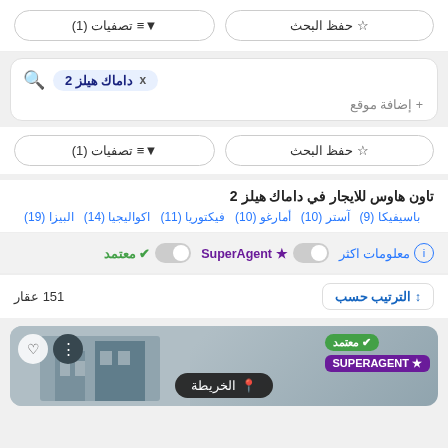حفظ البحث ☆
تصفيات (1) ▼≡
داماك هيلز 2 x
+ إضافة موقع
حفظ البحث ☆
تصفيات (1) ▼≡
تاون هاوس للايجار في داماك هيلز 2
البيزا (19)  اكواليجيا (14)  فيكتوريا (11)  أمارغو (10)  آستر (10)  باسيفيكا (9)
معتمد  SuperAgent  معلومات اكثر
151 عقار
↕ الترتيب حسب
الخريطة
معتمد  SUPERAGENT